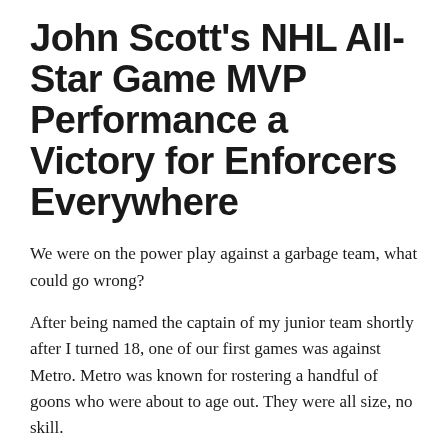John Scott's NHL All-Star Game MVP Performance a Victory for Enforcers Everywhere
We were on the power play against a garbage team, what could go wrong?
After being named the captain of my junior team shortly after I turned 18, one of our first games was against Metro. Metro was known for rostering a handful of goons who were about to age out. They were all size, no skill.